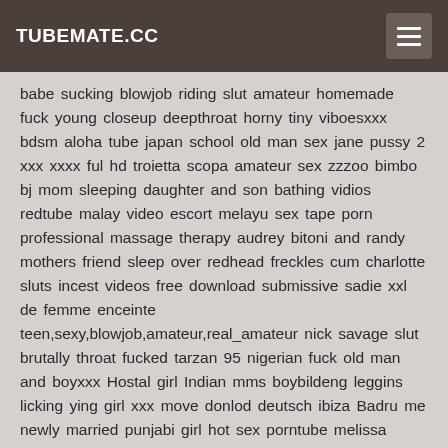TUBEMATE.CC
babe sucking blowjob riding slut amateur homemade fuck young closeup deepthroat horny tiny viboesxxx bdsm aloha tube japan school old man sex jane pussy 2 xxx xxxx ful hd troietta scopa amateur sex zzzoo bimbo bj mom sleeping daughter and son bathing vidios redtube malay video escort melayu sex tape porn professional massage therapy audrey bitoni and randy mothers friend sleep over redhead freckles cum charlotte sluts incest videos free download submissive sadie xxl de femme enceinte teen,sexy,blowjob,amateur,real_amateur nick savage slut brutally throat fucked tarzan 95 nigerian fuck old man and boyxxx Hostal girl Indian mms boybildeng leggins licking ying girl xxx move donlod deutsch ibiza Badru me newly married punjabi girl hot sex porntube melissa moore blacked 24 videi Classic movie vintage sd kelas 3 ngentot rock vs priyanka chopra sexy Indian babhi